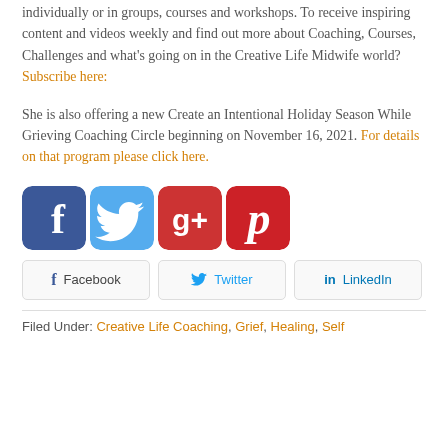individually or in groups, courses and workshops. To receive inspiring content and videos weekly and find out more about Coaching, Courses, Challenges and what's going on in the Creative Life Midwife world? Subscribe here:
She is also offering a new Create an Intentional Holiday Season While Grieving Coaching Circle beginning on November 16, 2021. For details on that program please click here.
[Figure (other): Four social media icon buttons: Facebook (blue), Twitter (light blue), Google+ (red with g+ logo), Pinterest (red with P logo)]
Facebook   Twitter   LinkedIn
Filed Under: Creative Life Coaching, Grief, Healing, Self